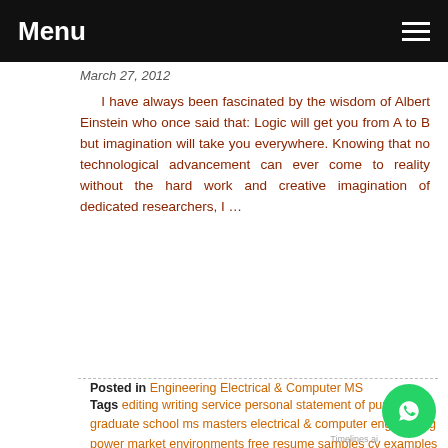Menu
March 27, 2012
I have always been fascinated by the wisdom of Albert Einstein who once said that: Logic will get you from A to B but imagination will take you everywhere. Knowing that no technological advancement can ever come to reality without the hard work and creative imagination of dedicated researchers, I …
Read more
Posted in Engineering Electrical & Computer MS
Tags editing writing service personal statement of purpose for graduate school ms masters electrical & computer engineering power market environments free resume samples cv examples help
PHD RAINFOREST ECONOMICS, AFRICA,